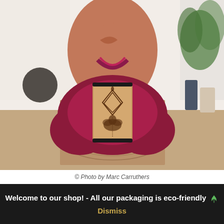[Figure (photo): A person in red/pink yoga attire kneeling on a cork yoga mat, holding a cork yoga wheel with a lotus flower design. A plant and some bottles are visible in the background.]
© Photo by Marc Carruthers
Welcome to our shop! - All our packaging is eco-friendly 🌿
Dismiss